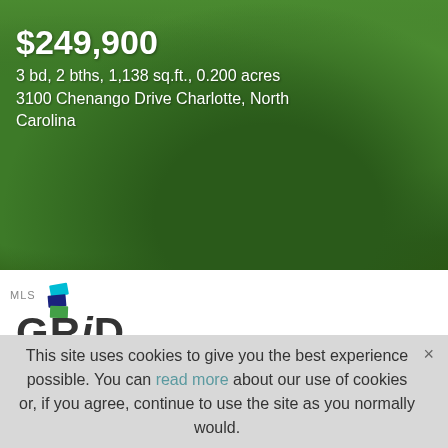[Figure (photo): Green grass lawn photo used as property listing background]
$249,900
3 bd, 2 bths, 1,138 sq.ft., 0.200 acres
3100 Chenango Drive Charlotte, North Carolina
[Figure (logo): MLS GRID logo with colorful stacked squares icon]
Listing courtesy of Opendoor Brokerage LLC
[Figure (photo): Trees with blue sky background, bottom property photo]
This site uses cookies to give you the best experience possible. You can read more about our use of cookies or, if you agree, continue to use the site as you normally would.